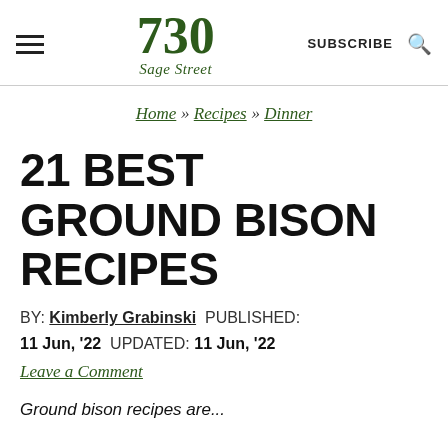730 Sage Street — SUBSCRIBE
Home » Recipes » Dinner
21 BEST GROUND BISON RECIPES
BY: Kimberly Grabinski  PUBLISHED: 11 Jun, '22  UPDATED: 11 Jun, '22
Leave a Comment
Ground bison recipes are...